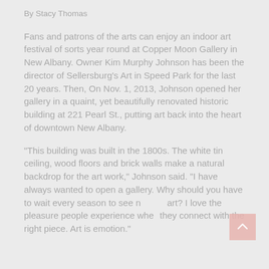By Stacy Thomas
Fans and patrons of the arts can enjoy an indoor art festival of sorts year round at Copper Moon Gallery in New Albany. Owner Kim Murphy Johnson has been the director of Sellersburg's Art in Speed Park for the last 20 years. Then, On Nov. 1, 2013, Johnson opened her gallery in a quaint, yet beautifully renovated historic building at 221 Pearl St., putting art back into the heart of downtown New Albany.
"This building was built in the 1800s. The white tin ceiling, wood floors and brick walls make a natural backdrop for the art work," Johnson said. "I have always wanted to open a gallery. Why should you have to wait every season to see new art? I love the pleasure people experience when they connect with the right piece. Art is emotion."